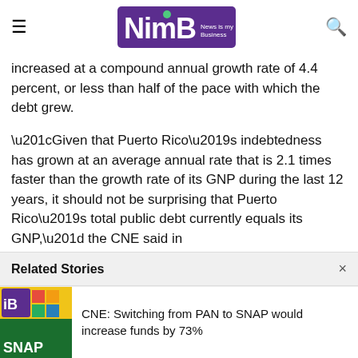NimB — News is my Business
increased at a compound annual growth rate of 4.4 percent, or less than half of the pace with which the debt grew.
“Given that Puerto Rico’s indebtedness has grown at an average annual rate that is 2.1 times faster than the growth rate of its GNP during the last 12 years, it should not be surprising that Puerto Rico’s total public debt currently equals its GNP,” the CNE said in
Related Stories
CNE: Switching from PAN to SNAP would increase funds by 73%